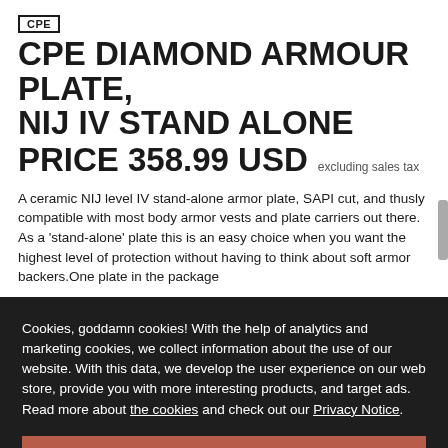CPE
CPE DIAMOND ARMOUR PLATE, NIJ IV STAND ALONE PRICE 358.99 USD excluding sales tax
A ceramic NIJ level IV stand-alone armor plate, SAPI cut, and thusly compatible with most body armor vests and plate carriers out there. As a 'stand-alone' plate this is an easy choice when you want the highest level of protection without having to think about soft armor backers.One plate in the package
Cookies, goddamn cookies! With the help of analytics and marketing cookies, we collect information about the use of our website. With this data, we develop the user experience on our web store, provide you with more interesting products, and target ads. Read more about the cookies and check out our Privacy Notice.
Ok